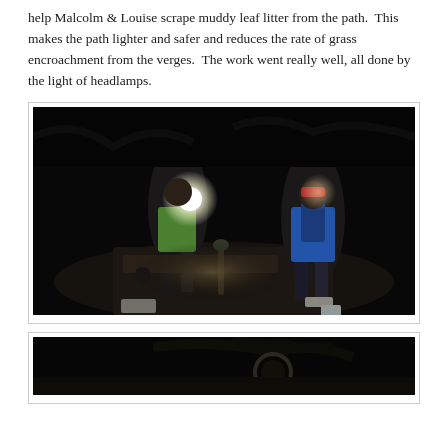help Malcolm & Louise scrape muddy leaf litter from the path.  This makes the path lighter and safer and reduces the rate of grass encroachment from the verges.  The work went really well, all done by the light of headlamps.
[Figure (photo): Night-time photograph of people working on a path using headlamps. Workers visible in dark outdoor setting, one wearing a bright green jacket and headlamp on the left, another in a blue jacket on the right, with tools laid across the path.]
[Figure (photo): Second night-time photograph, partially cropped at bottom of page, showing a dark outdoor scene.]